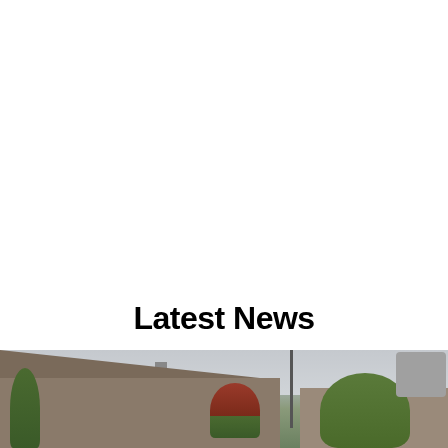Latest News
[Figure (photo): Photograph of a residential street scene with houses, trees including a red-leafed tree, an antenna/communications tower, overcast sky, and a gray UI element in the top-right corner of the image.]